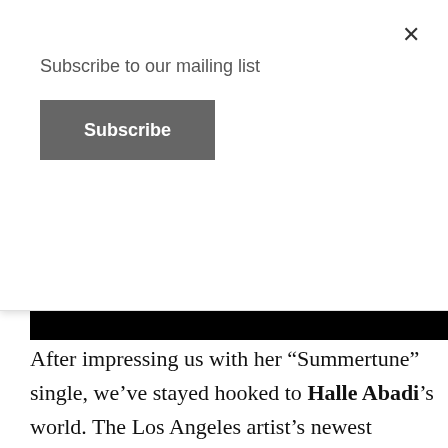Subscribe to our mailing list
Subscribe
[Figure (photo): Black bar image area partially visible]
After impressing us with her “Summertune” single, we’ve stayed hooked to Halle Abadi’s world. The Los Angeles artist’s newest release “Fault Lines” is another track that showcases her great vocals and knack for sweet melodies. The song is a self-love anthem covered in a blissful sound. The production infuses middle-eastern elements into a modern